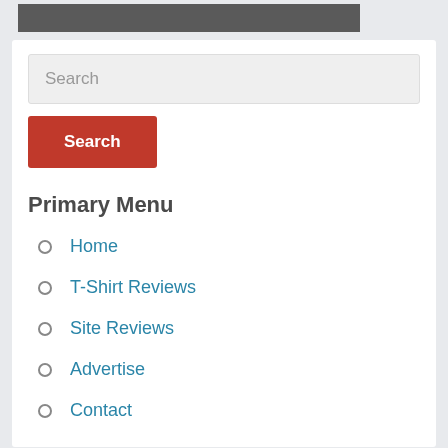[Figure (photo): Partial view of a decorative item on dark background, partially cropped at top]
Search
Search
Primary Menu
Home
T-Shirt Reviews
Site Reviews
Advertise
Contact